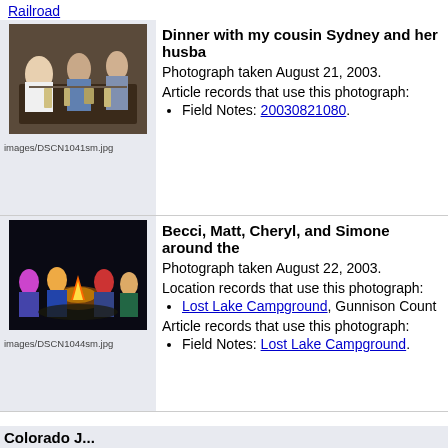Railroad
Dinner with my cousin Sydney and her husba
Photograph taken August 21, 2003.
Article records that use this photograph:
Field Notes: 20030821080.
images/DSCN1041sm.jpg
[Figure (photo): Dinner photo with people seated at a table]
Becci, Matt, Cheryl, and Simone around the
Photograph taken August 22, 2003.
Location records that use this photograph:
Lost Lake Campground, Gunnison Count
Article records that use this photograph:
Field Notes: Lost Lake Campground.
images/DSCN1044sm.jpg
[Figure (photo): Night campfire photo with people around fire]
Colorado J...